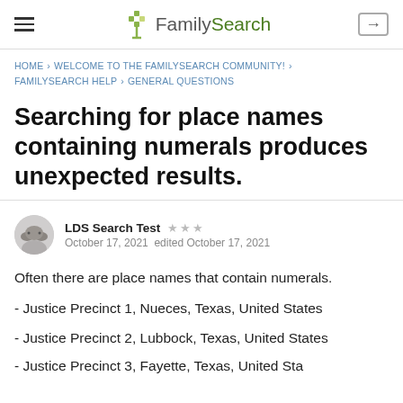FamilySearch
HOME › WELCOME TO THE FAMILYSEARCH COMMUNITY! › FAMILYSEARCH HELP › GENERAL QUESTIONS
Searching for place names containing numerals produces unexpected results.
LDS Search Test ★★★ October 17, 2021 edited October 17, 2021
Often there are place names that contain numerals.
- Justice Precinct 1, Nueces, Texas, United States
- Justice Precinct 2, Lubbock, Texas, United States
- Justice Precinct 3, Fayette, Texas, United States